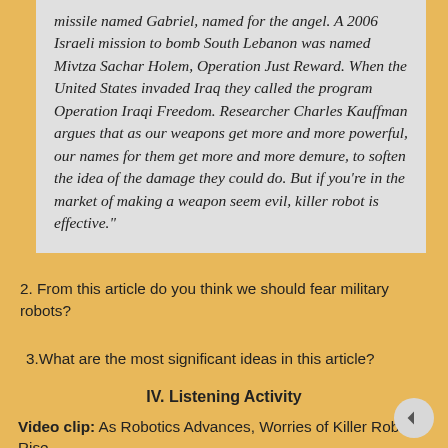missile named Gabriel, named for the angel. A 2006 Israeli mission to bomb South Lebanon was named Mivtza Sachar Holem, Operation Just Reward. When the United States invaded Iraq they called the program Operation Iraqi Freedom. Researcher Charles Kauffman argues that as our weapons get more and more powerful, our names for them get more and more demure, to soften the idea of the damage they could do. But if you're in the market of making a weapon seem evil, killer robot is effective."
2. From this article do you think we should fear military robots?
3.What are the most significant ideas in this article?
IV. Listening Activity
Video clip:  As Robotics Advances, Worries of Killer Robots Rise